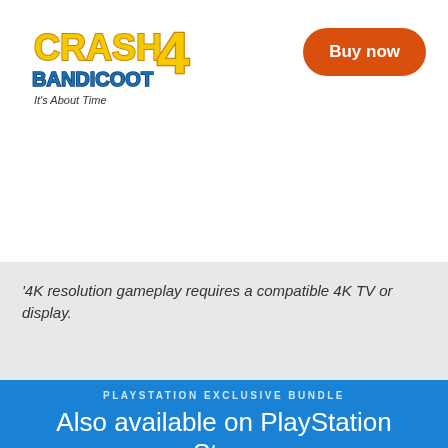[Figure (logo): Crash Bandicoot 4: It's About Time logo with stylized cartoon text in yellow/orange/blue]
Buy now
'4K resolution gameplay requires a compatible 4K TV or display.
PLAYSTATION EXCLUSIVE BUNDLE
Also available on PlayStation Store